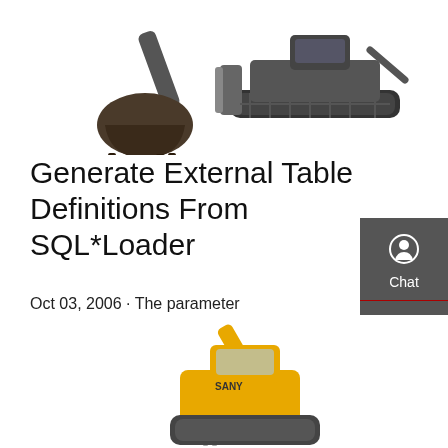[Figure (photo): Construction machinery - excavator bucket and bulldozer on white background]
Generate External Table Definitions From SQL*Loader
Oct 03, 2006 · The parameter EXTERNAL_TABLE=GENERATE_ONLY, when added to a SQL*Loader command line, will translate the control file used in the run into a ...
[Figure (other): Sidebar panel with Chat, Email, and Contact buttons on dark gray background]
Get a quote
[Figure (photo): Yellow SANY excavator on white background, partially visible at bottom of page]